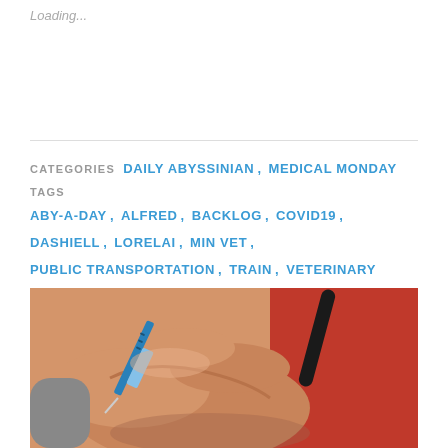Loading...
CATEGORIES  DAILY ABYSSINIAN,  MEDICAL MONDAY
TAGS  ABY-A-DAY,  ALFRED,  BACKLOG,  COVID19,  DASHIELL,  LORELAI,  MIN VET,  PUBLIC TRANSPORTATION,  TRAIN,  VETERINARY
[Figure (photo): Close-up photo of a medical professional holding a blue syringe/needle against a patient's hand or wrist. The person in background is wearing a red top. A stethoscope is visible.]